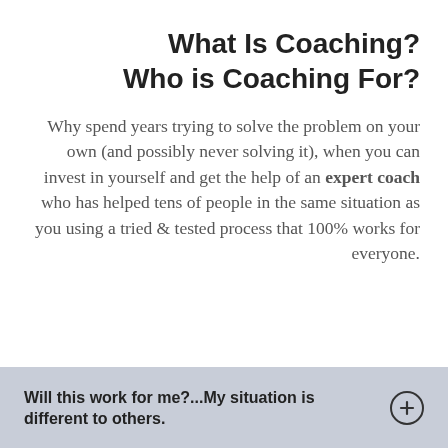What Is Coaching?
Who is Coaching For?
Why spend years trying to solve the problem on your own (and possibly never solving it), when you can invest in yourself and get the help of an expert coach who has helped tens of people in the same situation as you using a tried & tested process that 100% works for everyone.
Will this work for me?...My situation is different to others.